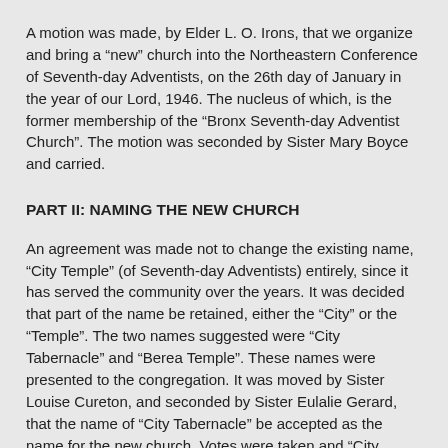A motion was made, by Elder L. O. Irons, that we organize and bring a “new” church into the Northeastern Conference of Seventh-day Adventists, on the 26th day of January in the year of our Lord, 1946. The nucleus of which, is the former membership of the “Bronx Seventh-day Adventist Church”. The motion was seconded by Sister Mary Boyce and carried.
PART II: NAMING THE NEW CHURCH
An agreement was made not to change the existing name, “City Temple” (of Seventh-day Adventists) entirely, since it has served the community over the years. It was decided that part of the name be retained, either the “City” or the “Temple”. The two names suggested were “City Tabernacle” and “Berea Temple”. These names were presented to the congregation. It was moved by Sister Louise Cureton, and seconded by Sister Eulalie Gerard, that the name of “City Tabernacle” be accepted as the name for the new church. Votes were taken and “City Tabernacle” won with 66 votes, defeating “Berea Temple” with 63 votes. Therefore, the name of the new church would be henceforth known as “City Tabernacle of Seventh-day Adventists”.